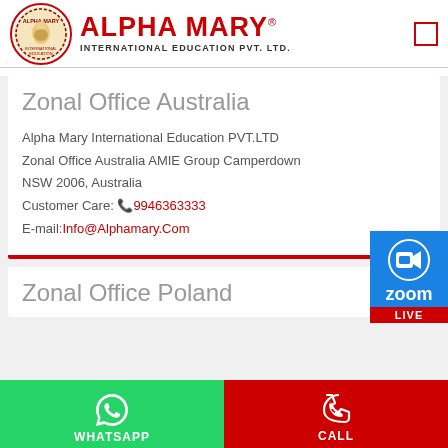[Figure (logo): Alpha Mary International Education Pvt. Ltd. logo with circular emblem on the left and red bold ALPHA MARY text with subtitle INTERNATIONAL EDUCATION PVT. LTD.]
Zonal Office Australia
Alpha Mary International Education PVT.LTD
Zonal Office Australia AMIE Group Camperdown
NSW 2006, Australia
Customer Care: 9946363333
E-mail: Info@Alphamary.Com
Zonal Office Poland
[Figure (logo): Zoom LIVE badge in blue with camera icon and red LIVE label]
WHATSAPP
CALL